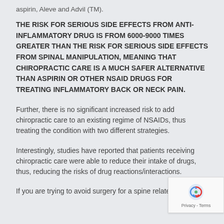aspirin, Aleve and Advil (TM).
THE RISK FOR SERIOUS SIDE EFFECTS FROM ANTI-INFLAMMATORY DRUG IS FROM 6000-9000 TIMES GREATER THAN THE RISK FOR SERIOUS SIDE EFFECTS FROM SPINAL MANIPULATION, MEANING THAT CHIROPRACTIC CARE IS A MUCH SAFER ALTERNATIVE THAN ASPIRIN OR OTHER NSAID DRUGS FOR TREATING INFLAMMATORY BACK OR NECK PAIN.
Further, there is no significant increased risk to add chiropractic care to an existing regime of NSAIDs, thus treating the condition with two different strategies.
Interestingly, studies have reported that patients receiving chiropractic care were able to reduce their intake of drugs, thus, reducing the risks of drug reactions/interactions.
If you are trying to avoid surgery for a spine related problem,